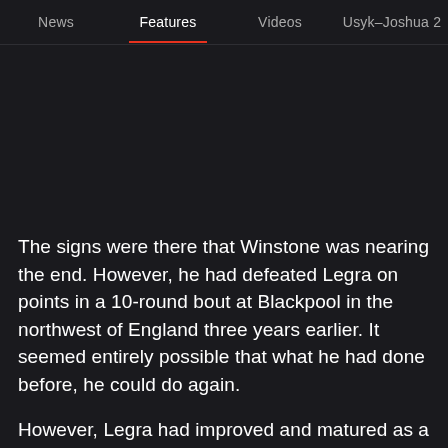News | Features | Videos | Usyk–Joshua 2
The signs were there that Winstone was nearing the end. However, he had defeated Legra on points in a 10-round bout at Blackpool in the northwest of England three years earlier. It seemed entirely possible that what he had done before, he could do again.
However, Legra had improved and matured as a fighter.
Legra, although only 25 years old, had won 102 bouts, starting out as a 17-year-old in Havana, with just five